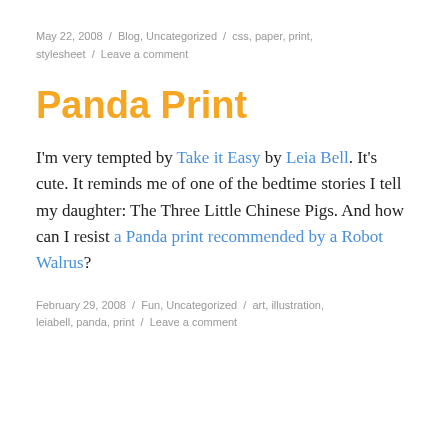May 22, 2008 / Blog, Uncategorized / css, paper, print, stylesheet / Leave a comment
Panda Print
I'm very tempted by Take it Easy by Leia Bell. It's cute. It reminds me of one of the bedtime stories I tell my daughter: The Three Little Chinese Pigs. And how can I resist a Panda print recommended by a Robot Walrus?
February 29, 2008 / Fun, Uncategorized / art, illustration, leiabell, panda, print / Leave a comment